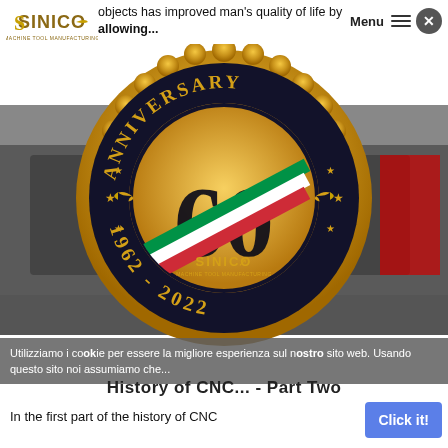objects has improved man's quality of life by allowing...
[Figure (logo): Sinico Machine Tool Manufacturing logo]
Menu
[Figure (illustration): Sinico 60th Anniversary badge (1962-2022), dark navy/black circular seal with gold scalloped border, gold text reading ANNIVERSARY and 60 with Italian flag stripe, hummingbird motifs, stars, and Sinico logo inside]
Utilizziamo i cookie per essere la migliore esperienza sul nostro sito web. Usando questo sito noi assumiamo che...
History of CNC... Part Two
In the first part of the history of CNC
Click it!